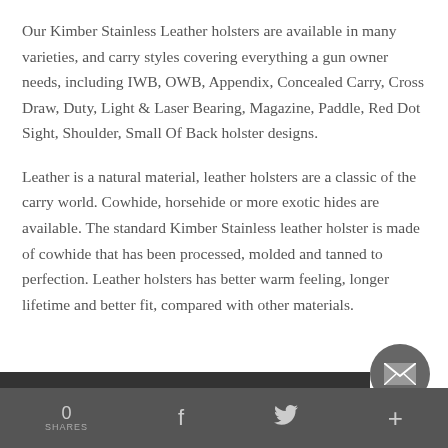Our Kimber Stainless Leather holsters are available in many varieties, and carry styles covering everything a gun owner needs, including IWB, OWB, Appendix, Concealed Carry, Cross Draw, Duty, Light & Laser Bearing, Magazine, Paddle, Red Dot Sight, Shoulder, Small Of Back holster designs.
Leather is a natural material, leather holsters are a classic of the carry world. Cowhide, horsehide or more exotic hides are available. The standard Kimber Stainless leather holster is made of cowhide that has been processed, molded and tanned to perfection. Leather holsters has better warm feeling, longer lifetime and better fit, compared with other materials.
0 SHARES  f  [twitter]  +